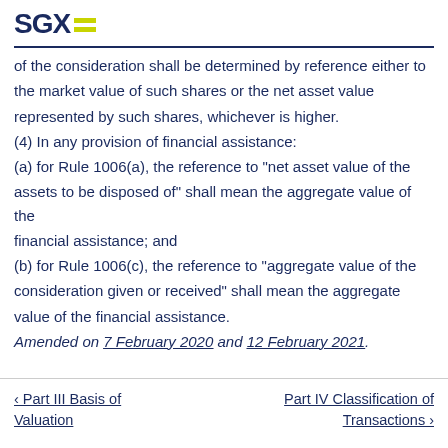SGX
of the consideration shall be determined by reference either to the market value of such shares or the net asset value represented by such shares, whichever is higher.
(4) In any provision of financial assistance:
(a) for Rule 1006(a), the reference to "net asset value of the assets to be disposed of" shall mean the aggregate value of the financial assistance; and
(b) for Rule 1006(c), the reference to "aggregate value of the consideration given or received" shall mean the aggregate value of the financial assistance.
Amended on 7 February 2020 and 12 February 2021.
‹ Part III Basis of Valuation    Part IV Classification of Transactions ›